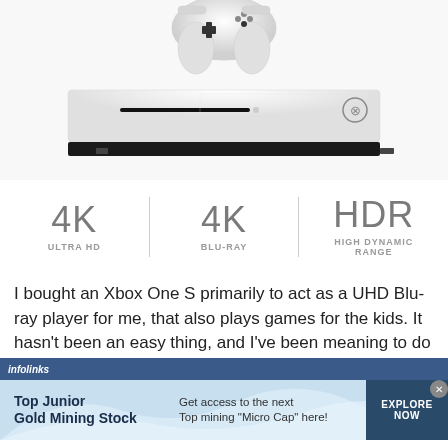[Figure (photo): Xbox One S gaming console with white controller placed on top, shown from a front-angle view on white background]
4K ULTRA HD | 4K BLU-RAY | HDR HIGH DYNAMIC RANGE
I bought an Xbox One S primarily to act as a UHD Blu-ray player for me, that also plays games for the kids. It hasn't been an easy thing, and I've been meaning to do
[Figure (screenshot): Infolinks advertisement banner for Top Junior Gold Mining Stock: Get access to the next Top mining "Micro Cap" here! EXPLORE NOW]